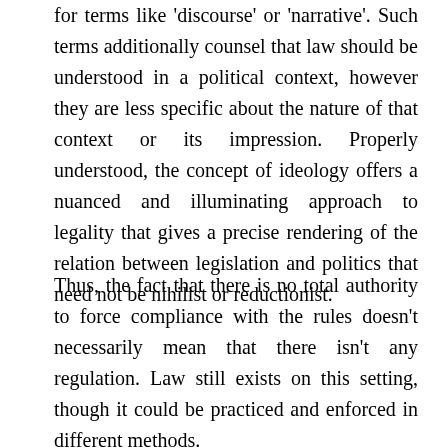for terms like 'discourse' or 'narrative'. Such terms additionally counsel that law should be understood in a political context, however they are less specific about the nature of that context or its impression. Properly understood, the concept of ideology offers a nuanced and illuminating approach to legality that gives a precise rendering of the relation between legislation and politics that need not be nihilist or reductionist.
Thus, the fact that there is no total authority to force compliance with the rules doesn't necessarily mean that there isn't any regulation. Law still exists on this setting, though it could be practiced and enforced in different methods.